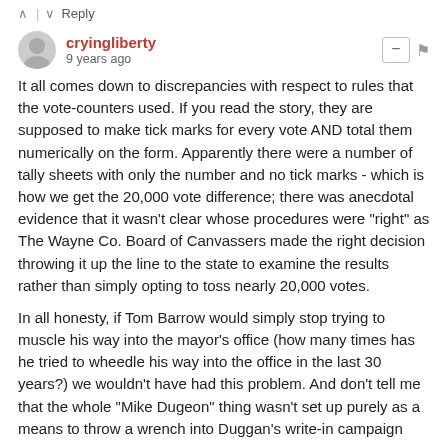^ | v  Reply
cryingliberty
9 years ago
It all comes down to discrepancies with respect to rules that the vote-counters used. If you read the story, they are supposed to make tick marks for every vote AND total them numerically on the form. Apparently there were a number of tally sheets with only the number and no tick marks - which is how we get the 20,000 vote difference; there was anecdotal evidence that it wasn't clear whose procedures were "right" as The Wayne Co. Board of Canvassers made the right decision throwing it up the line to the state to examine the results rather than simply opting to toss nearly 20,000 votes.
In all honesty, if Tom Barrow would simply stop trying to muscle his way into the mayor's office (how many times has he tried to wheedle his way into the office in the last 30 years?) we wouldn't have had this problem. And don't tell me that the whole "Mike Dugeon" thing wasn't set up purely as a means to throw a wrench into Duggan's write-in campaign